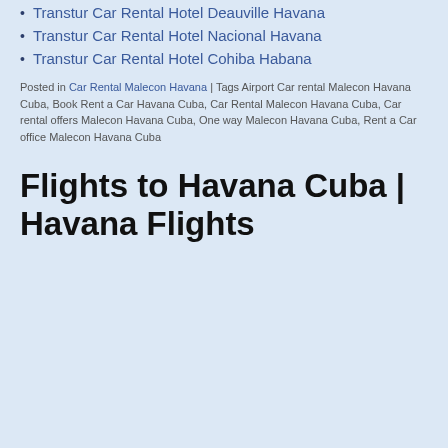Transtur Car Rental Hotel Deauville Havana
Transtur Car Rental Hotel Nacional Havana
Transtur Car Rental Hotel Cohiba Habana
Posted in Car Rental Malecon Havana | Tags Airport Car rental Malecon Havana Cuba, Book Rent a Car Havana Cuba, Car Rental Malecon Havana Cuba, Car rental offers Malecon Havana Cuba, One way Malecon Havana Cuba, Rent a Car office Malecon Havana Cuba
Flights to Havana Cuba | Havana Flights